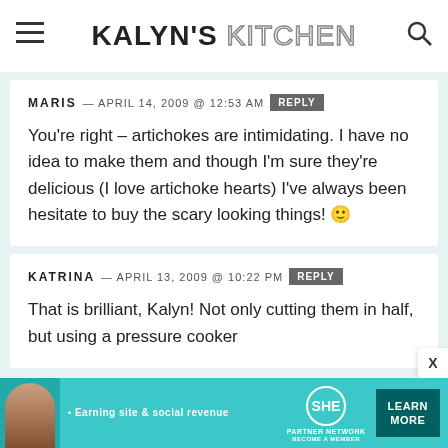KALYN'S KITCHEN
MARIS — APRIL 14, 2009 @ 12:53 AM [REPLY]
You're right – artichokes are intimidating. I have no idea to make them and though I'm sure they're delicious (I love artichoke hearts) I've always been hesitate to buy the scary looking things! 🙂
KATRINA — APRIL 13, 2009 @ 10:22 PM [REPLY]
That is brilliant, Kalyn! Not only cutting them in half, but using a pressure cooker
[Figure (infographic): SHE Partner Network advertisement banner: Earning site & social revenue, LEARN MORE button]